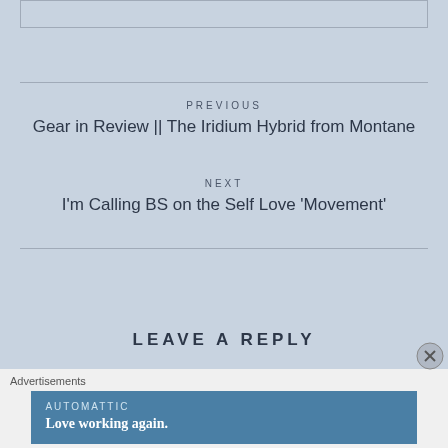[Figure (other): Partial top image box cut off at top of page]
PREVIOUS
Gear in Review || The Iridium Hybrid from Montane
NEXT
I'm Calling BS on the Self Love 'Movement'
LEAVE A REPLY
Advertisements
AUTOMATTIC
Love working again.